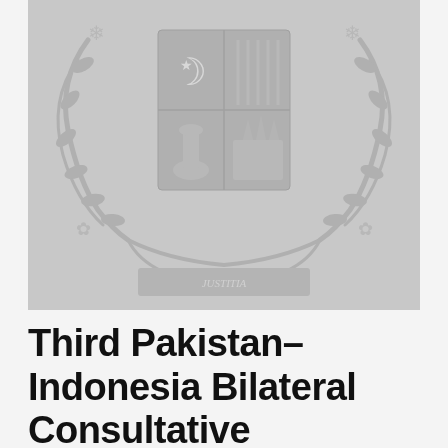[Figure (logo): A large grayscale government coat of arms / emblem, appearing as a light gray watermark-style image. Features a shield divided into quadrants with various symbols including a crescent, star, and other heraldic elements, surrounded by ornate floral wreaths and a banner at the bottom.]
Third Pakistan–Indonesia Bilateral Consultative